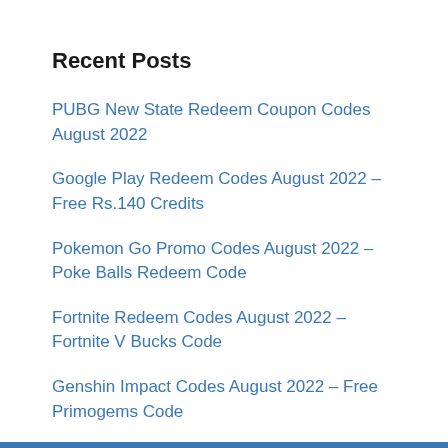Recent Posts
PUBG New State Redeem Coupon Codes August 2022
Google Play Redeem Codes August 2022 – Free Rs.140 Credits
Pokemon Go Promo Codes August 2022 – Poke Balls Redeem Code
Fortnite Redeem Codes August 2022 – Fortnite V Bucks Code
Genshin Impact Codes August 2022 – Free Primogems Code